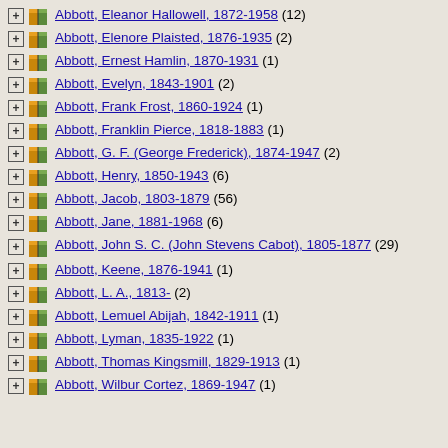Abbott, Eleanor Hallowell, 1872-1958 (12)
Abbott, Elenore Plaisted, 1876-1935 (2)
Abbott, Ernest Hamlin, 1870-1931 (1)
Abbott, Evelyn, 1843-1901 (2)
Abbott, Frank Frost, 1860-1924 (1)
Abbott, Franklin Pierce, 1818-1883 (1)
Abbott, G. F. (George Frederick), 1874-1947 (2)
Abbott, Henry, 1850-1943 (6)
Abbott, Jacob, 1803-1879 (56)
Abbott, Jane, 1881-1968 (6)
Abbott, John S. C. (John Stevens Cabot), 1805-1877 (29)
Abbott, Keene, 1876-1941 (1)
Abbott, L. A., 1813- (2)
Abbott, Lemuel Abijah, 1842-1911 (1)
Abbott, Lyman, 1835-1922 (1)
Abbott, Thomas Kingsmill, 1829-1913 (1)
Abbott, Wilbur Cortez, 1869-1947 (1)